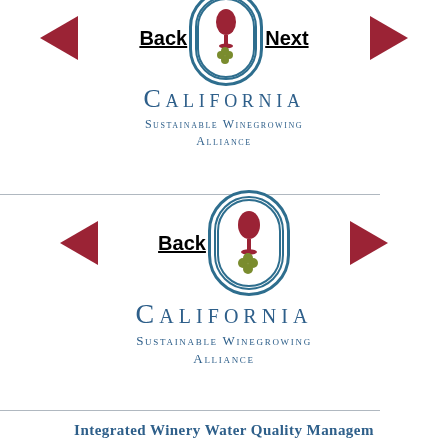[Figure (logo): California Sustainable Winegrowing Alliance logo with navigation buttons (Back, Next arrows and wine glass/grape icon) - first instance]
[Figure (logo): California Sustainable Winegrowing Alliance logo with navigation button (Back arrow and wine glass/grape icon) - second instance]
Integrated Winery Water Quality Managem